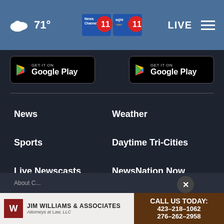71° LIVE — WJHL News Channel 11
[Figure (screenshot): Two Google Play store download buttons side by side on dark background]
News
Weather
Sports
Daytime Tri-Cities
Live Newscasts
NewsNation Now
About Us
About C...
[Figure (illustration): Jim Williams & Associates Attorneys at Law LLC advertisement with phone numbers 423-218-1062 and 276-262-2958 and CALL US TODAY text]